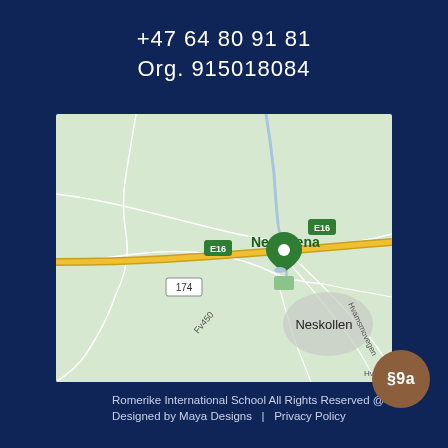+47 64 80 91 81
Org. 915018084
[Figure (map): Google Maps screenshot showing Nes Arena location near Neskollen, Norway. Roads E16, 174, and Fv450 are visible. A green map pin marks Nes Arena. Road labels include Hvamsmovegen.]
Romerike International School All Rights Reserved @ 2021.
Designed by Maya Designs   |   Privacy Policy